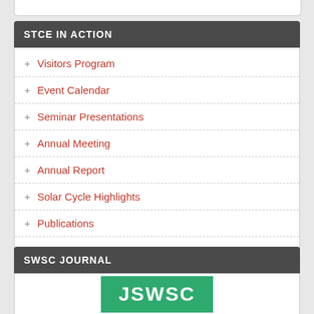STCE IN ACTION
+ Visitors Program
+ Event Calendar
+ Seminar Presentations
+ Annual Meeting
+ Annual Report
+ Solar Cycle Highlights
+ Publications
+ SWx acronyms
+ SWx classifications
+ SC25 Tracking
SWSC JOURNAL
[Figure (logo): SWSC journal logo in green with white text]